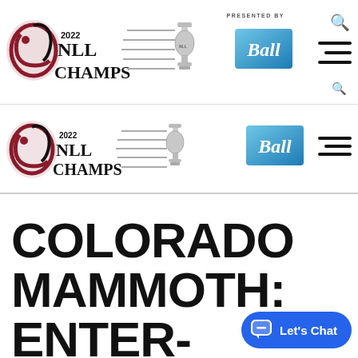[Figure (logo): Colorado Mammoth 2022 NLL Champs logo with trophy, presented by Ball corporation logo - top navigation bar]
[Figure (logo): Colorado Mammoth 2022 NLL Champs logo with trophy and Ball corporation logo - second navigation bar]
COLORADO MAMMOTH: ENTER-TO-WIN CON...